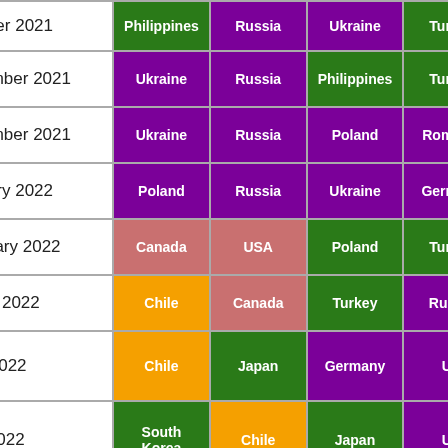| Month | 1st | 2nd | 3rd | 4th | 5th |
| --- | --- | --- | --- | --- | --- |
| October 2021 | Philippines | Russia | Ukraine | Turkey | … |
| November 2021 | Ukraine | Russia | Philippines | Turkey | Ma… |
| December 2021 | Ukraine | Russia | Poland | Romania | Phil… |
| January 2022 | Poland | Russia | Ukraine | Germany | Tu… |
| February 2022 | Canada | USA | Poland | Turkey | Ru… |
| March 2022 | Chile | Canada | Turkey | Russia | U… |
| April 2022 | Chile | Japan | Germany | UK | Ru… |
| May 2022 | South Korea | Chile | Japan | UK | Ge… |